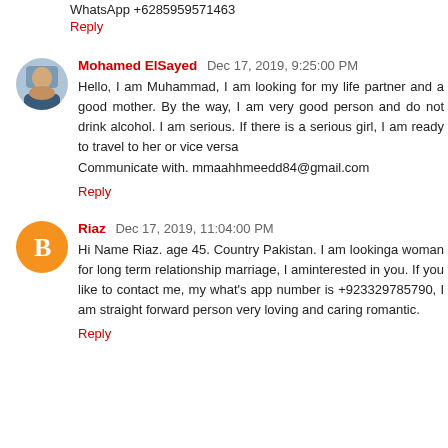WhatsApp +6285959571463
Reply
Mohamed ElSayed  Dec 17, 2019, 9:25:00 PM
Hello, I am Muhammad, I am looking for my life partner and a good mother. By the way, I am very good person and do not drink alcohol. I am serious. If there is a serious girl, I am ready to travel to her or vice versa
Communicate with. mmaahhmeedd84@gmail.com
Reply
Riaz  Dec 17, 2019, 11:04:00 PM
Hi Name Riaz. age 45. Country Pakistan. I am lookinga woman for long term relationship marriage, I aminterested in you. If you like to contact me, my what's app number is +923329785790, I am straight forward person very loving and caring romantic.
Reply